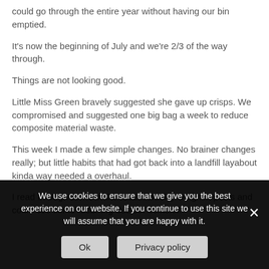could go through the entire year without having our bin emptied.
It's now the beginning of July and we're 2/3 of the way through.
Things are not looking good.
Little Miss Green bravely suggested she gave up crisps. We compromised and suggested one big bag a week to reduce composite material waste.
This week I made a few simple changes. No brainer changes really; but little habits that had got back into a landfill layabout kinda way needed a overhaul.
I read through some of the recent weekly weigh in posts and could see some recurring dustbin demons:
We use cookies to ensure that we give you the best experience on our website. If you continue to use this site we will assume that you are happy with it.